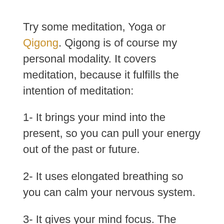Try some meditation, Yoga or Qigong. Qigong is of course my personal modality. It covers meditation, because it fulfills the intention of meditation:
1- It brings your mind into the present, so you can pull your energy out of the past or future.
2- It uses elongated breathing so you can calm your nervous system.
3- It gives your mind focus. The Imagery in the Qigong exercises focuses the mind, in the present, on an image that is nurturing and calming. This in turn helps reprogram the brain's